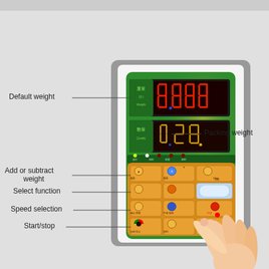[Figure (engineering-diagram): Control panel of an automatic weighing/packing machine with labeled components: Default weight (top red 7-segment display showing 0888), Packing weight (amber 7-segment display showing 028), Add or subtract weight buttons, Select function buttons, Speed selection buttons, Start/stop buttons. Labels with lines point to each component. A hand is shown pressing a button.]
Default weight
Packing weight
Add or subtract weight
Select function
Speed selection
Start/stop